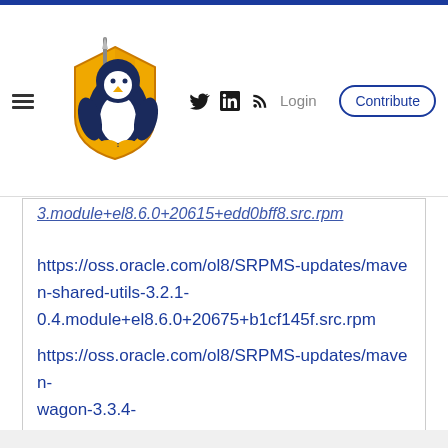Linux Security — navigation header with logo, social icons, Login, Contribute
3.module+el8.6.0+20615+edd0bff8.src.rpm
https://oss.oracle.com/ol8/SRPMS-updates/maven-shared-utils-3.2.1-0.4.module+el8.6.0+20675+b1cf145f.src.rpm https://oss.oracle.com/ol8/SRPMS-updates/maven-wagon-3.3.4-
We use cookies to provide and improve our services. By using our site, you consent to our Cookie Policy.
Accept  Learn More About Our Cookie Policy
17.module+el8.6.0+20615+edd0bff8.src.rpm https://oss.oracle.com/ol8/SRPMS-updates/plexus-classworlds-2.6.0-4.module+el8.6.0+20615+edd0bff8.src.rpm